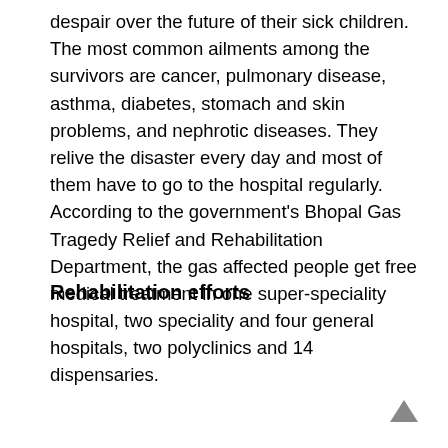despair over the future of their sick children. The most common ailments among the survivors are cancer, pulmonary disease, asthma, diabetes, stomach and skin problems, and nephrotic diseases. They relive the disaster every day and most of them have to go to the hospital regularly. According to the government's Bhopal Gas Tragedy Relief and Rehabilitation Department, the gas affected people get free medical treatment in one super-speciality hospital, two speciality and four general hospitals, two polyclinics and 14 dispensaries.
Rehabilitation efforts